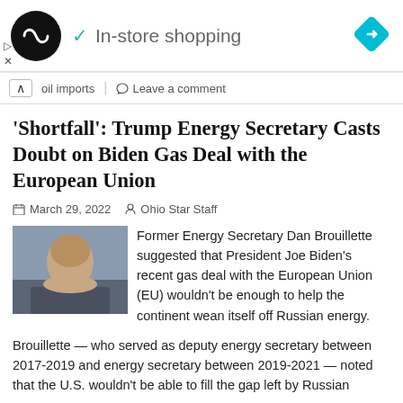[Figure (screenshot): Ad banner with black circle logo containing infinity-like symbol, checkmark icon, 'In-store shopping' text, and blue diamond arrow icon on right]
oil imports | Leave a comment
'Shortfall': Trump Energy Secretary Casts Doubt on Biden Gas Deal with the European Union
March 29, 2022   Ohio Star Staff
[Figure (photo): Photo of former Energy Secretary Dan Brouillette, an older man with grey hair, smiling, wearing a suit and tie]
Former Energy Secretary Dan Brouillette suggested that President Joe Biden's recent gas deal with the European Union (EU) wouldn't be enough to help the continent wean itself off Russian energy.
Brouillette — who served as deputy energy secretary between 2017-2019 and energy secretary between 2019-2021 — noted that the U.S. wouldn't be able to fill the gap left by Russian